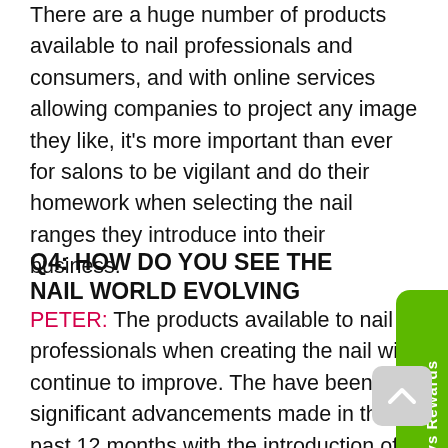There are a huge number of products available to nail professionals and consumers, and with online services allowing companies to project any image they like, it's more important than ever for salons to be vigilant and do their homework when selecting the nail ranges they introduce into their business.
Q4: HOW DO YOU SEE THE NAIL WORLD EVOLVING
PETER: The products available to nail professionals when creating the nail will continue to improve. There have been significant advancements made in the past 12 months with the introduction of Artistic Putty Polygel, and I can see room for further development in the removal and re-balance areas. There will be a return to traditional services and a stronger focus on natural nail preservation and natural growth under...